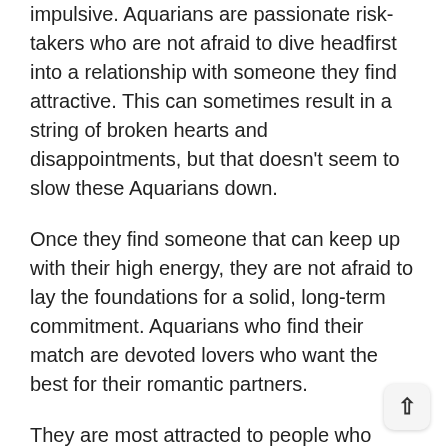impulsive. Aquarians are passionate risk-takers who are not afraid to dive headfirst into a relationship with someone they find attractive. This can sometimes result in a string of broken hearts and disappointments, but that doesn't seem to slow these Aquarians down.
Once they find someone that can keep up with their high energy, they are not afraid to lay the foundations for a solid, long-term commitment. Aquarians who find their match are devoted lovers who want the best for their romantic partners.
They are most attracted to people who keep a little mystery in the romance. That's because Aquarians love to chase after their loved ones, and they especially love when their partners